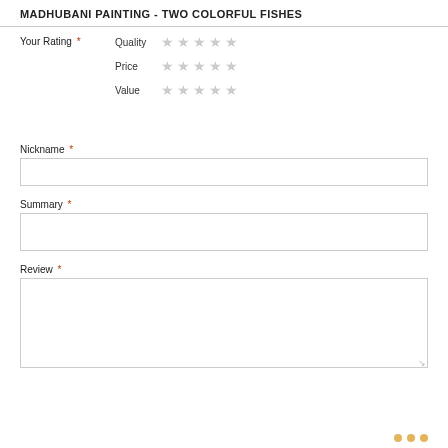MADHUBANI PAINTING - TWO COLORFUL FISHES
Your Rating * Quality Price Value (star ratings)
Nickname *
Summary *
Review *